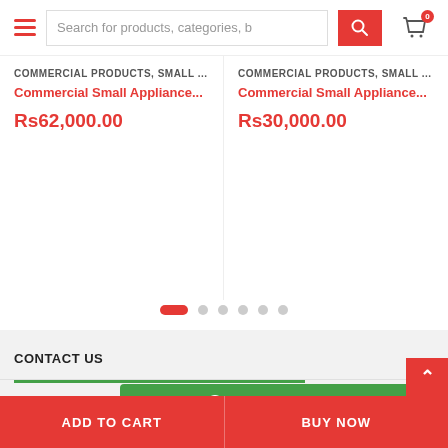Search for products, categories, b
COMMERCIAL PRODUCTS, SMALL ...
Commercial Small Appliance...
Rs62,000.00
COMMERCIAL PRODUCTS, SMALL ...
Commercial Small Appliance...
Rs30,000.00
CONTACT US
INFORMATION
QUICK LINKS
How can I help you?
ADD TO CART   BUY NOW